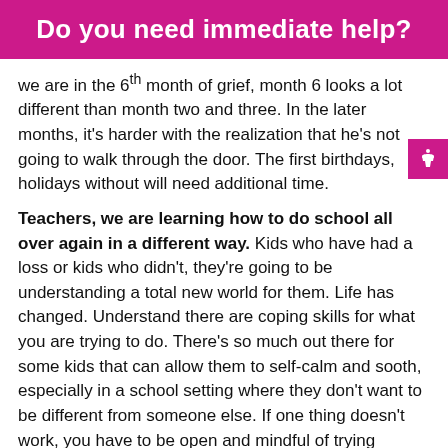Do you need immediate help?
we are in the 6th month of grief, month 6 looks a lot different than month two and three. In the later months, it's harder with the realization that he's not going to walk through the door. The first birthdays, holidays without will need additional time.
Teachers, we are learning how to do school all over again in a different way. Kids who have had a loss or kids who didn't, they're going to be understanding a total new world for them. Life has changed. Understand there are coping skills for what you are trying to do. There's so much out there for some kids that can allow them to self-calm and sooth, especially in a school setting where they don't want to be different from someone else. If one thing doesn't work, you have to be open and mindful of trying another way. There's no handbook for this. We kind of make it up as we go along in our lives because it's